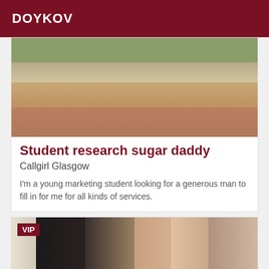DOYKOV
[Figure (photo): Outdoor photo showing lower body in beige/tan knit skirt, grass in background]
Student research sugar daddy
Callgirl Glasgow
I'm a young marketing student looking for a generous man to fill in for me for all kinds of services.
[Figure (photo): VIP photo showing woman with dark hair, brick wall background]